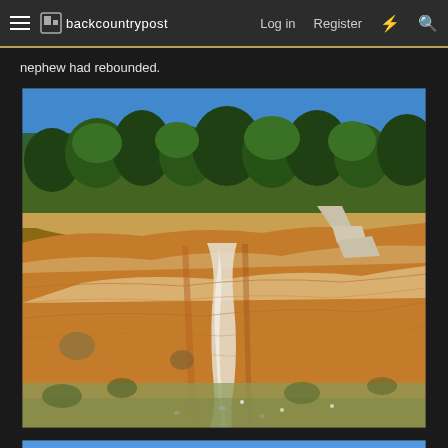backcountrypost — Log in  Register
nephew had rebounded.
[Figure (photo): Outdoor photograph showing exposed sandstone rock faces with orange, tan, and white mineral striations. A concrete structure (dam or wall) is visible in the upper right. Rolling hills covered with dark green pinyon pine trees rise behind the rock formation under a clear blue sky. Sparse scrubby vegetation dots the foreground.]
[Figure (photo): Partial view of a second outdoor photograph showing a blue sky and the tops of green conifer trees, cropped at the bottom of the page.]